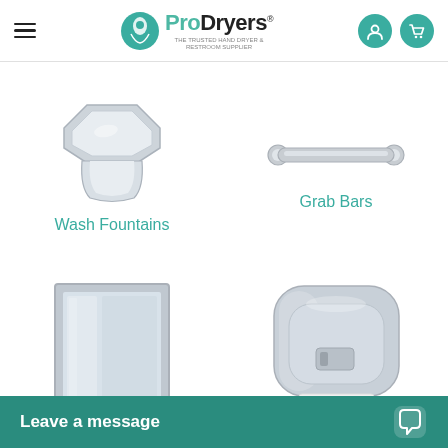ProDryers - THE TRUSTED HAND DRYER & RESTROOM SUPPLIER
[Figure (photo): Wash Fountains product image - white/silver circular wash fountain]
Wash Fountains
[Figure (photo): Grab Bars product image - silver horizontal grab bar]
Grab Bars
[Figure (photo): Restroom Mirrors product image - rectangular framed mirror]
Restroom Mirrors
[Figure (photo): Paper Towel dispenser product image - chrome/silver automatic paper towel dispenser]
Paper Towel
Leave a message